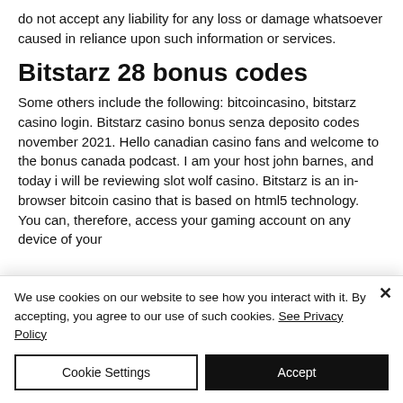do not accept any liability for any loss or damage whatsoever caused in reliance upon such information or services.
Bitstarz 28 bonus codes
Some others include the following: bitcoincasino, bitstarz casino login. Bitstarz casino bonus senza deposito codes november 2021. Hello canadian casino fans and welcome to the bonus canada podcast. I am your host john barnes, and today i will be reviewing slot wolf casino. Bitstarz is an in-browser bitcoin casino that is based on html5 technology. You can, therefore, access your gaming account on any device of your
We use cookies on our website to see how you interact with it. By accepting, you agree to our use of such cookies. See Privacy Policy
Cookie Settings
Accept